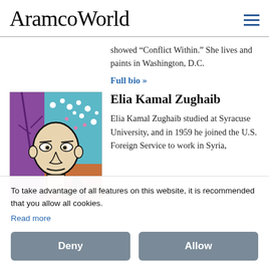AramcoWorld
showed “Conflict Within.” She lives and paints in Washington, D.C.
Full bio »
[Figure (illustration): Stylized artwork showing a bald figure with simplified facial features against a colorful background of purple, teal, and orange with floral dots]
Elia Kamal Zughaib
Elia Kamal Zughaib studied at Syracuse University, and in 1959 he joined the U.S. Foreign Service to work in Syria,
To take advantage of all features on this website, it is recommended that you allow all cookies.
Read more
Deny
Allow